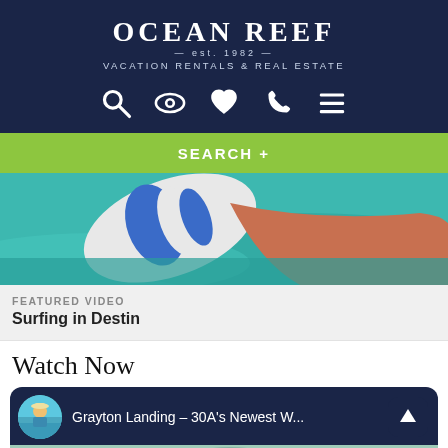[Figure (logo): Ocean Reef Vacation Rentals & Real Estate logo with navigation icons on dark navy background]
SEARCH +
[Figure (photo): Person holding a surfboard in turquoise water - featured video thumbnail]
FEATURED VIDEO
Surfing in Destin
Watch Now
[Figure (screenshot): Video thumbnail card for Grayton Landing - 30A's Newest W... with aerial beach photo and up arrow button]